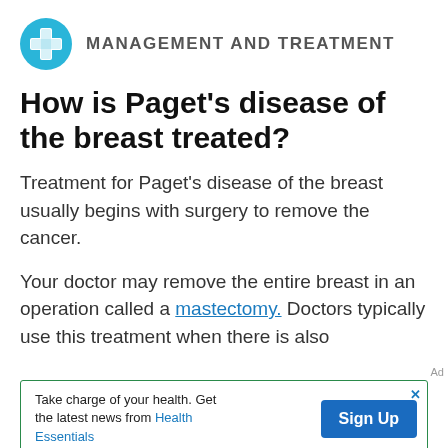MANAGEMENT AND TREATMENT
How is Paget’s disease of the breast treated?
Treatment for Paget’s disease of the breast usually begins with surgery to remove the cancer.
Your doctor may remove the entire breast in an operation called a mastectomy. Doctors typically use this treatment when there is also
Take charge of your health. Get the latest news from Health Essentials